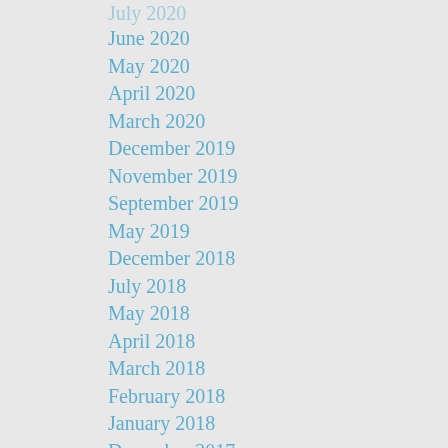June 2020
May 2020
April 2020
March 2020
December 2019
November 2019
September 2019
May 2019
December 2018
July 2018
May 2018
April 2018
March 2018
February 2018
January 2018
December 2017
October 2017
July 2017
May 2017
April 2017